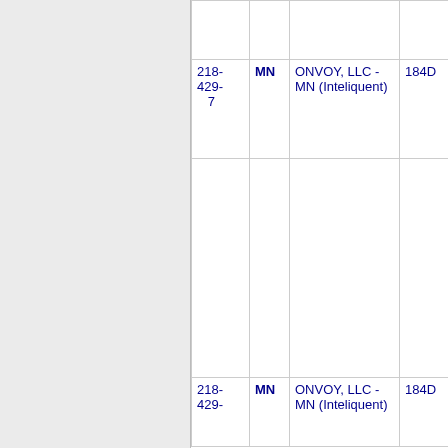| Number | State | Name | Code |
| --- | --- | --- | --- |
|  |  |  |  |
| 218-429-7 | MN | ONVOY, LLC - MN (Inteliquent) | 184D |
|  |  |  |  |
| 218-429- | MN | ONVOY, LLC - MN (Inteliquent) | 184D |